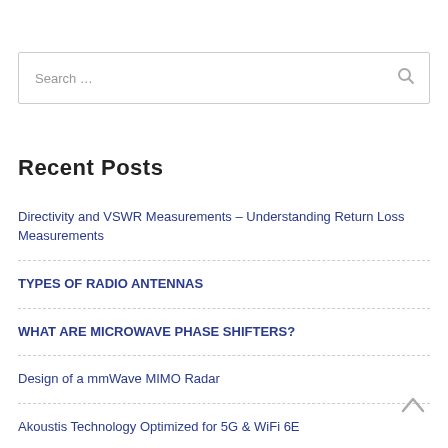Search ...
Recent Posts
Directivity and VSWR Measurements – Understanding Return Loss Measurements
TYPES OF RADIO ANTENNAS
WHAT ARE MICROWAVE PHASE SHIFTERS?
Design of a mmWave MIMO Radar
Akoustis Technology Optimized for 5G & WiFi 6E